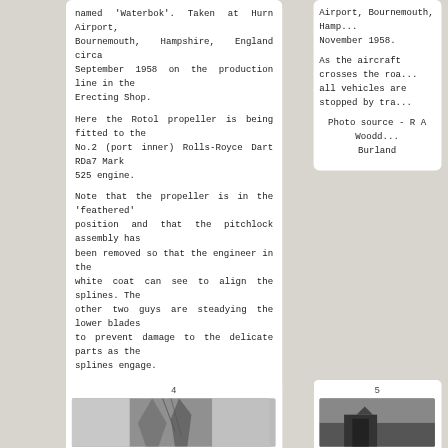named 'Waterbok'. Taken at Hurn Airport, Bournemouth, Hampshire, England circa September 1958 on the production line in the Erecting Shop.

Here the Rotol propeller is being fitted to the No.2 (port inner) Rolls-Royce Dart RDa7 Mark 525 engine.

Note that the propeller is in the 'feathered' position and that the pitchlock assembly has been removed so that the engineer in the white coat can see to align the splines. The other two guys are steadying the lower blades to prevent damage to the delicate parts as the splines engage.

The propeller is supported on an overhead gantry crane attached to a large black clamp around the pitchlock housing.

The retaining nut would then be fitted and torque loaded before the pitchlock assembly was fitted.

Carbon brushes at the front of the engine and copper slip rings at the rear of the propeller transmitted the electrical power needed to supply the anti-icing boots with current.

Photo source - George E Cooper collection
Airport, Bournemouth, Hampshire, November 1958.

As the aircraft crosses the road all vehicles are stopped by traffic...

Photo source - R A Woodcock / Burland
4
[Figure (photo): Black and white photo showing the tail/rear section of an aircraft, partially visible]
5
[Figure (photo): Black and white photo, partial view, bottom right card]